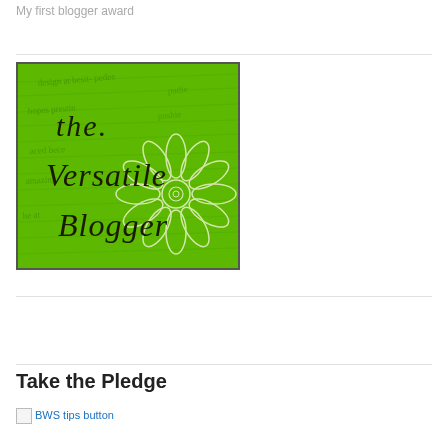My first blogger award
[Figure (illustration): The Versatile Blogger award badge — a green square image with decorative handwriting-style text reading 'the Versatile Blogger' and a white flower/lotus design on a green textured background.]
Take the Pledge
BWS tips button